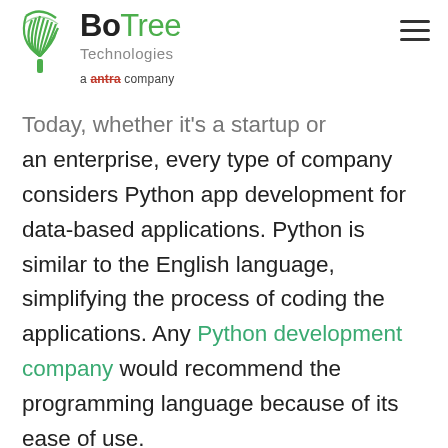BoTree Technologies a antra company
Today, whether it's a startup or an enterprise, every type of company considers Python app development for data-based applications. Python is similar to the English language, simplifying the process of coding the applications. Any Python development company would recommend the programming language because of its ease of use.